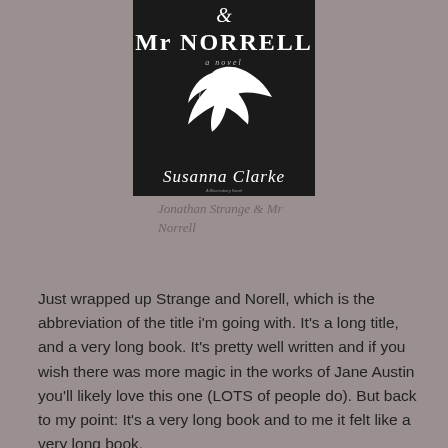[Figure (photo): Book cover of Jonathan Strange & Mr Norrell by Susanna Clarke. Dark/black background with white text showing ampersand symbol, 'Mr NORRELL', 'a novel', a white bird silhouette, and 'Susanna Clarke' at the bottom.]
Jonathan Strange & Mr Norrell
Just wrapped up Strange and Norell, which is the abbreviation of the title i'm going with. It's a long title, and a very long book. It's pretty well written and if you wish there was more magic in the works of Jane Austin you'll likely love this one (LOTS of people do). But back to my point: It's a very long book and to me it felt like a very long book.